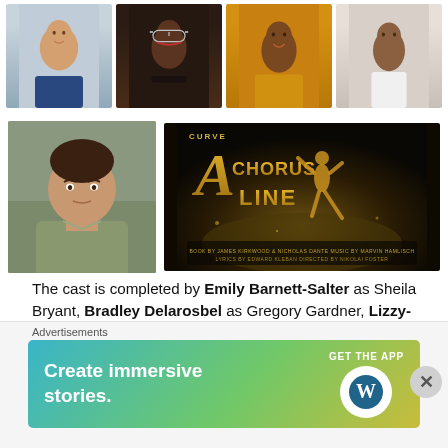[Figure (photo): Top row of four actor headshots: man smiling in blue t-shirt, woman with glasses and red lipstick, man in yellow shirt smiling, person in white shirt]
[Figure (photo): Portrait photo of a young man in a green/grey shirt]
[Figure (photo): Promotional poster for 'A Chorus Line' at Curve theatre, showing a dancer silhouette with golden letters]
The cast is completed by Emily Barnett-Salter as Sheila Bryant, Bradley Delarosbel as Gregory Gardner, Lizzy-Rose Esin-Kelly as Diana Morales, André Fabien Francis as Richie Walters, Ainsley Hall Ricketts as Paul San...
Advertisements
[Figure (other): Advertisement banner: 'Create immersive stories. GET THE APP' with WordPress logo]